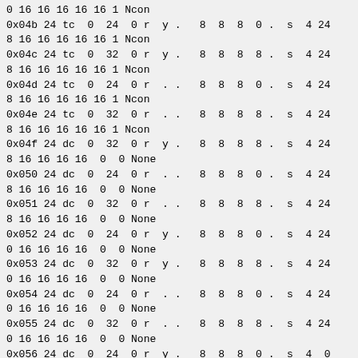0 16 16 16 16 16 1 Ncon
0x04b 24 tc  0  24  0 r  y .   8  8  8  0 .  s  4 24
8 16 16 16 16 16 1 Ncon
0x04c 24 tc  0  32  0 r  y .   8  8  8  8 .  s  4 24
8 16 16 16 16 16 1 Ncon
0x04d 24 tc  0  24  0 r  . .   8  8  8  0 .  s  4 24
8 16 16 16 16 16 1 Ncon
0x04e 24 tc  0  32  0 r  . .   8  8  8  8 .  s  4 24
8 16 16 16 16 16 1 Ncon
0x04f 24 dc  0  32  0 r  y .   8  8  8  8 .  s  4 24
8 16 16 16 16  0  0 None
0x050 24 dc  0  24  0 r  . .   8  8  8  0 .  s  4 24
8 16 16 16 16  0  0 None
0x051 24 dc  0  32  0 r  . .   8  8  8  8 .  s  4 24
8 16 16 16 16  0  0 None
0x052 24 dc  0  24  0 r  y .   8  8  8  0 .  s  4 24
0 16 16 16 16  0  0 None
0x053 24 dc  0  32  0 r  y .   8  8  8  8 .  s  4 24
0 16 16 16 16  0  0 None
0x054 24 dc  0  24  0 r  . .   8  8  8  0 .  s  4 24
0 16 16 16 16  0  0 None
0x055 24 dc  0  32  0 r  . .   8  8  8  8 .  s  4 24
0 16 16 16 16  0  0 None
0x056 24 dc  0  24  0 r  y .   8  8  8  0 .  s  4  0
0 16 16 16 16  0  0 None